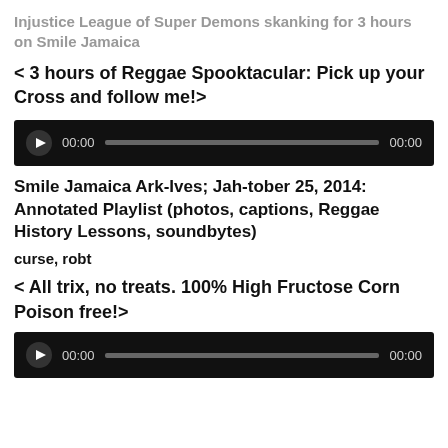Injustice League of Super Demons skanking for 3 hours on Smile Jamaica
< 3 hours of Reggae Spooktacular: Pick up your Cross and follow me!>
[Figure (other): Audio player with play button, progress bar, and time displays showing 00:00]
Smile Jamaica Ark-Ives; Jah-tober 25, 2014: Annotated Playlist (photos, captions, Reggae History Lessons, soundbytes)
curse, robt
< All trix, no treats. 100% High Fructose Corn Poison free!>
[Figure (other): Audio player with play button, progress bar, and time displays showing 00:00]